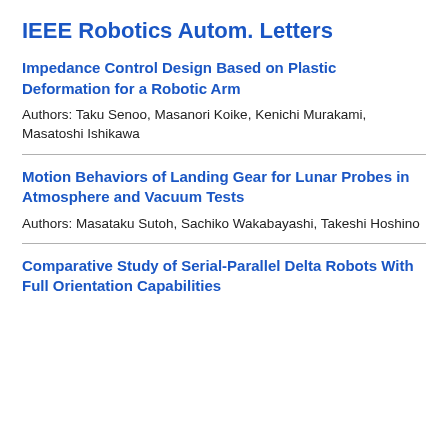IEEE Robotics Autom. Letters
Impedance Control Design Based on Plastic Deformation for a Robotic Arm
Authors: Taku Senoo, Masanori Koike, Kenichi Murakami, Masatoshi Ishikawa
Motion Behaviors of Landing Gear for Lunar Probes in Atmosphere and Vacuum Tests
Authors: Masataku Sutoh, Sachiko Wakabayashi, Takeshi Hoshino
Comparative Study of Serial-Parallel Delta Robots With Full Orientation Capabilities